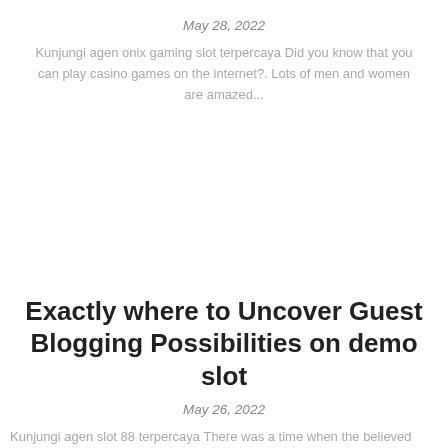May 28, 2022
Kunjungi agen onix gaming slot terpercaya Did you know that you can play casino games on the internet?. Lots of men and women are amazed...
Exactly where to Uncover Guest Blogging Possibilities on demo slot
May 26, 2022
Kunjungi agen slot 88 terpercaya There was a time when the believed